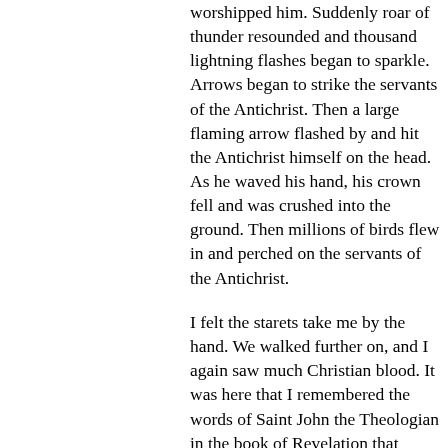worshipped him. Suddenly roar of thunder resounded and thousand lightning flashes began to sparkle. Arrows began to strike the servants of the Antichrist. Then a large flaming arrow flashed by and hit the Antichrist himself on the head. As he waved his hand, his crown fell and was crushed into the ground. Then millions of birds flew in and perched on the servants of the Antichrist.
I felt the starets take me by the hand. We walked further on, and I again saw much Christian blood. It was here that I remembered the words of Saint John the Theologian in the book of Revelation that blood would 'be up to the horse's bridle.' I thought, Oh my God, save us! At that time I saw Angels flying and singing, 'Holy, Holy, Holy. Lord of